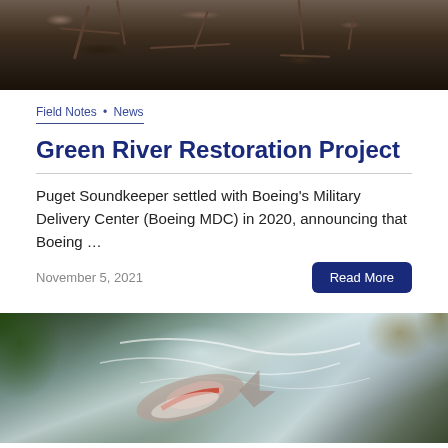[Figure (photo): Top photograph showing dark soil and tree roots from above]
Field Notes • News
Green River Restoration Project
Puget Soundkeeper settled with Boeing's Military Delivery Center (Boeing MDC) in 2020, announcing that Boeing …
November 5, 2021
Read More
[Figure (photo): Photograph of a salmon or trout swimming upstream through whitewater, with green foliage and autumn leaves visible]